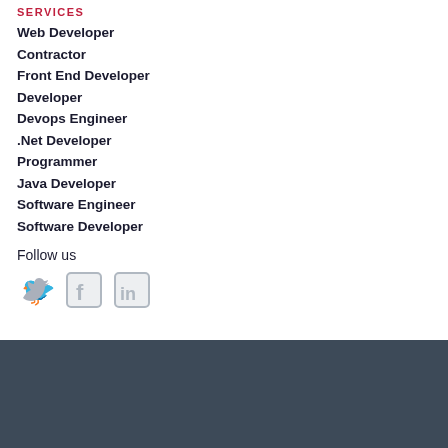SERVICES
Web Developer
Contractor
Front End Developer
Developer
Devops Engineer
.Net Developer
Programmer
Java Developer
Software Engineer
Software Developer
Follow us
[Figure (illustration): Three social media icons: Twitter bird icon, Facebook F icon, LinkedIn in icon, all in light gray color.]